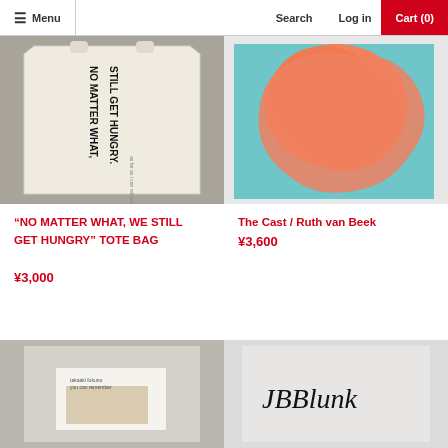Menu  Search  Log in  Cart (0)
[Figure (photo): Tote bag with text 'NO MATTER WHAT, STILL GET HUNGRY' printed vertically on cream/white canvas fabric, photographed on concrete]
[Figure (photo): Abstract artwork showing orange/salmon colored organic shape on teal/turquoise background, 'The Cast / Ruth van Beek']
“NO MATTER WHAT, WE STILL GET HUNGRY” TOTE BAG
¥3,000
The Cast / Ruth van Beek
¥3,600
[Figure (photo): Book or publication with small text and a beige/cream insert card, light gray cover background]
[Figure (photo): Book or publication with a handwritten signature 'JBBlank' on white/light gray cover]